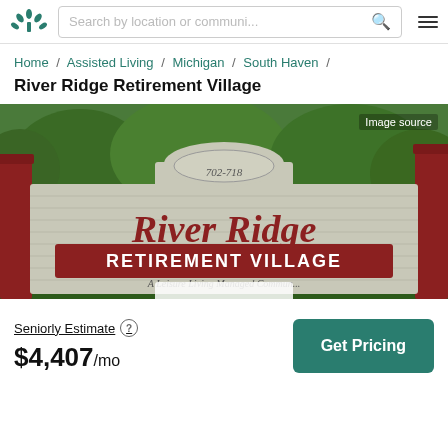Search by location or communi...
Home / Assisted Living / Michigan / South Haven /
River Ridge Retirement Village
[Figure (photo): Exterior sign of River Ridge Retirement Village showing '702-718 River Ridge RETIREMENT VILLAGE - A Leisure Living Managed Community' on a wooden sign with red trim, surrounded by green trees and bushes.]
Image source
Seniorly Estimate
$4,407/mo
Get Pricing